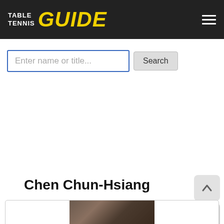TABLE TENNIS GUIDE
[Figure (screenshot): Search input box with placeholder 'Enter name or title...' and a Search button]
Chen Chun-Hsiang
[Figure (photo): Partial photo of Chen Chun-Hsiang at the bottom of the page inside a card box]